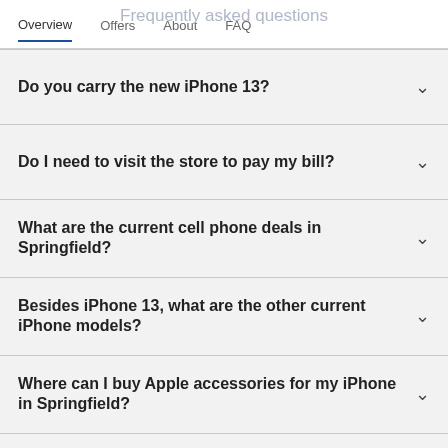Overview | Offers | About | FAQ
Frequently asked questions
Do you carry the new iPhone 13?
Do I need to visit the store to pay my bill?
What are the current cell phone deals in Springfield?
Besides iPhone 13, what are the other current iPhone models?
Where can I buy Apple accessories for my iPhone in Springfield?